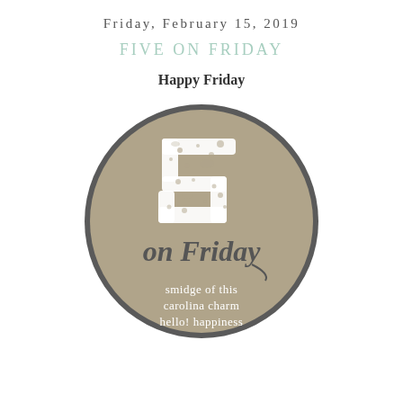Friday, February 15, 2019
Five on Friday
Happy Friday
[Figure (logo): Circular logo with tan/khaki background and dark gray border. Large distressed white number '5' in the upper portion. Script text 'on Friday' below the 5. Three lines of small white text at bottom: 'smidge of this', 'carolina charm', 'hello! happiness'.]